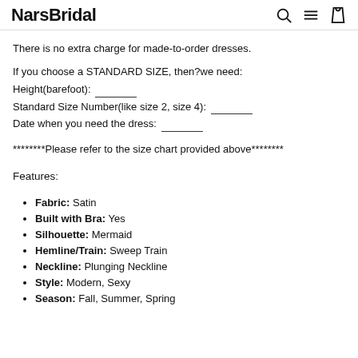NarsBridal
There is no extra charge for made-to-order dresses.
If you choose a STANDARD SIZE, then we need:
Height(barefoot): ______
Standard Size Number(like size 2, size 4): ______
Date when you need the dress: ______
********Please refer to the size chart provided above********
Features:
Fabric: Satin
Built with Bra: Yes
Silhouette: Mermaid
Hemline/Train: Sweep Train
Neckline: Plunging Neckline
Style: Modern, Sexy
Season: Fall, Summer, Spring